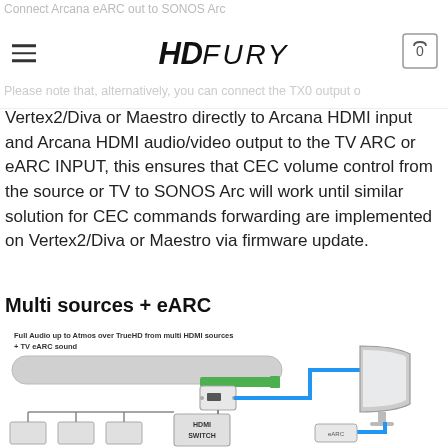Connect Arcana eARC out to SONOS Arc
HD FURY — navigation logo and cart
Please note that, alternatively, you can connect the TX0 output of Vertex2/Diva or Maestro directly to Arcana HDMI input and Arcana HDMI audio/video output to the TV ARC or eARC INPUT, this ensures that CEC volume control from the source or TV to SONOS Arc will work until similar solution for CEC commands forwarding are implemented on Vertex2/Diva or Maestro via firmware update.
Multi sources + eARC
[Figure (schematic): Diagram showing Full Audio up to Atmos over TrueHD from multi HDMI sources + TV eARC sound. Shows a soundbar connected via green cable to an Arcana device (small box), which connects via blue cable to a curved TV and an HDMI Switch device below. Multiple source inputs feed into the HDMI Switch.]